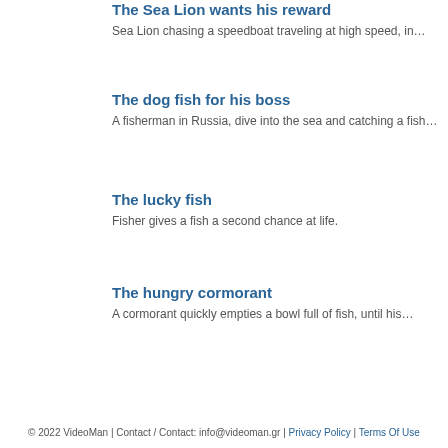The Sea Lion wants his reward
Sea Lion chasing a speedboat traveling at high speed, in…
The dog fish for his boss
A fisherman in Russia, dive into the sea and catching a fish…
The lucky fish
Fisher gives a fish a second chance at life.
The hungry cormorant
A cormorant quickly empties a bowl full of fish, until his…
© 2022 VideoMan | Contact / Contact: info@videoman.gr | Privacy Policy | Terms Of Use